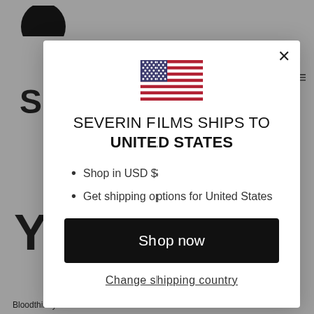[Figure (screenshot): Gray website background with partial Severin Films logo and navigation visible behind a modal dialog. Bottom shows partial product titles: Bloodthirsty Butchers, The Sinful Dwarf, The M.]
SEVERIN FILMS SHIPS TO UNITED STATES
Shop in USD $
Get shipping options for United States
Shop now
Change shipping country